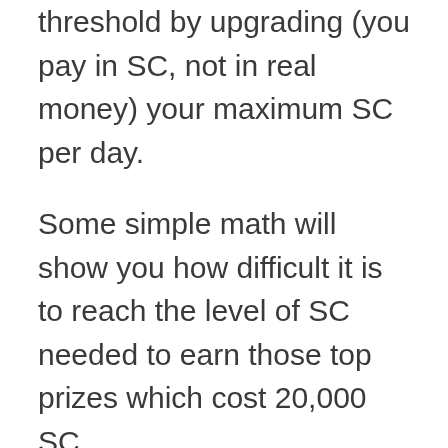threshold by upgrading (you pay in SC, not in real money) your maximum SC per day.
Some simple math will show you how difficult it is to reach the level of SC needed to earn those top prizes which cost 20,000 SC.
If you're maxed out at 150 SC per month, it will take you 11 years to earn 20,000 SC!! That's a long time, and who can guarantee that Sweatcoin will even be around by then?
If you're a real power walker and you upgrade to the Breaker level you'll be able to earn 600 SC per month. But it would still take you